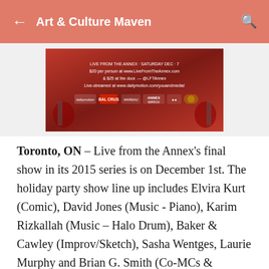← Art & Culture Maven 🔍
[Figure (photo): Event promotional image for Live from the Annex holiday show with red background, showing ticket price info and sponsor logos including Annex Improv]
Toronto, ON – Live from the Annex's final show in its 2015 series is on December 1st. The holiday party show line up includes Elvira Kurt (Comic), David Jones (Music - Piano), Karim Rizkallah (Music – Halo Drum), Baker & Cawley (Improv/Sketch), Sasha Wentges, Laurie Murphy and Brian G. Smith (Co-MCs & LFTAnnex Co-Producers) and 'CSI Annex Pop-Up Market' (CSI Profile). In addition, the show features Brunswick Stew (Annex Improv) with guest improviser